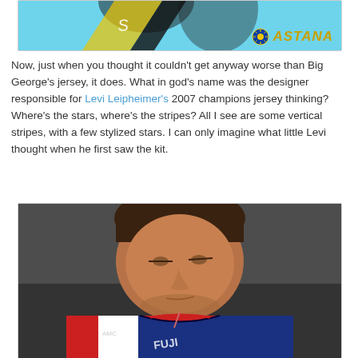[Figure (photo): Top portion of a cycling team photo showing riders in Astana team kit with light blue/cyan background and the Astana logo with Kazakhstan sun emblem visible in the bottom right corner]
Now, just when you thought it couldn't get anyway worse than Big George's jersey, it does. What in god's name was the designer responsible for Levi Leipheimer's 2007 champions jersey thinking? Where's the stars, where's the stripes? All I see are some vertical stripes, with a few stylized stars. I can only imagine what little Levi thought when he first saw the kit.
[Figure (photo): Close-up photo of cyclist Levi Leipheimer looking down, wearing a red, white, and blue cycling jersey with FUJI branding visible]